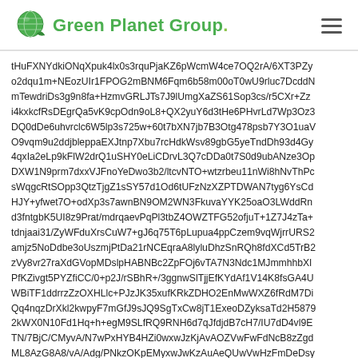Green Planet Group
tHuFXNYdkiONqXpuk4lx0s3rquPjaKZ6pWcmW4ce7OQ2rA/6XT3PZy o2dqu1m+NEozUIr1FPOG2mBNM6Fqm6b58m00oT0wU9rluc7DcddN mTewdriDs3g9n8fa+HzmvGRLJTs7J9lUmgXaZS61Sop3cs/r5CXr+Zz i4kxkcfRsDEgrQa5vK9cpOdn9oL8+QX2yuY6d3tHe6PHvrLd7Wp3Oz3 DQ0dDe6uhvrclc6W5lp3s725w+60t7bXN7jb7B3Otg478psb7Y3O1uaV O9vqm9u2ddjbleppaEXJtnp7Xbu7rcHdkWsv89gbG5yeTndDh93d4Gy 4qxIa2eLp9kFlW2drQ1uSHY0eLiCDrvL3Q7cDDa0t7S0d9ubANze3Op DXW1N9prm7dxxVJFnoYeDwo3b2/ltcvNTO+wtzrbeu11nWi8hNvThPc sWqgcRtSOpp3QtzTjgZ1sSY57d1Od6tUFzNzXZPTDWAN7tyg6YsCd HJY+yfwet7O+odXp3s7awnBN9OM2WN3FkuvaYYK25oaO3LWddRn d3fntgbK5UI8z9Prat/mdrqaevPqPl3tbZ4OWZTFG52ofjuT+1Z7J4zTa+ tdnjaai31/ZyWFduXrsCuW7+gJ6q75T6pLupua4ppCzem9vqWjrrURS2 amjz5NoDdbe3oUszmjPtDa21rNCEqraA8lyluDhzSnRQh8fdXCd5TrB2 zVy8vr27raXdGVopMDslpHABNBc2ZpFOj6vTA7N3Ndc1MJmmhhbXl PfKZivgt5PYZfiCC/0+p2J/rSBhR+/3ggnwSlTjjEfKYdAf1V14K8fsGA4U WBiTF1ddrrzZzOXHLlc+PJzJK35xufKRkZDHO2EnMwWXZ6fRdM7Di Qq4nqzDrXkl2kwpyF7mGfJ9sJQ9SgTxCw8jT1ExeoDZyksaTd2H5879 2kWX0N10Fd1Hq+h+egM9SLfRQ9RNH6d7qJfdjdB7cH7/IU7dD4vl9E TN/7BjC/CMyvA/N7wPxHYB4HZi0wxwJzKjAvAOZVwFwFdNcB8zZgd ML8AzG8A8/vA/Adg/PNkzOKpEMyxwJwKzAuAeQUwVwHzFmDeDsy 7wHzn4DZRzMoTtDUym68gLkQmFcD82ZgbgJCDzD3A/N3gPmfgfm dKJbsIrfFxLg1xmTMSt9IZitwJwBzlXAvBqYNwNzPTB3APMtwPzPwPv /CCeJgNpHjAvB+Z1wLwVmFuBeTcwHwS/D5gfAuYn8XQcmF8B4jPA